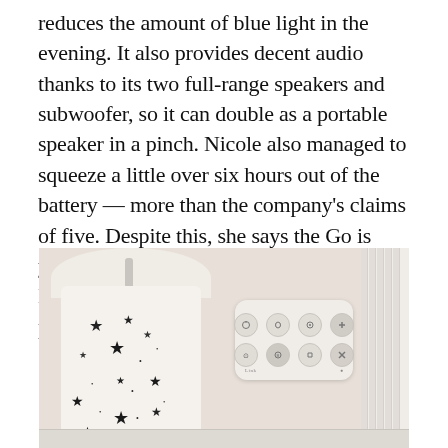reduces the amount of blue light in the evening. It also provides decent audio thanks to its two full-range speakers and subwoofer, so it can double as a portable speaker in a pinch. Nicole also managed to squeeze a little over six hours out of the battery — more than the company's claims of five. Despite this, she says the Go is your best choice only if Facebook Messenger and WhatsApp are your primary video call services.
[Figure (photo): A white cylindrical lamp with star cutouts/pattern sits on a surface next to a wall-mounted white remote control with 6 circular buttons arranged in a 2x3 grid. The right side of the image shows a white molded wall or door frame.]